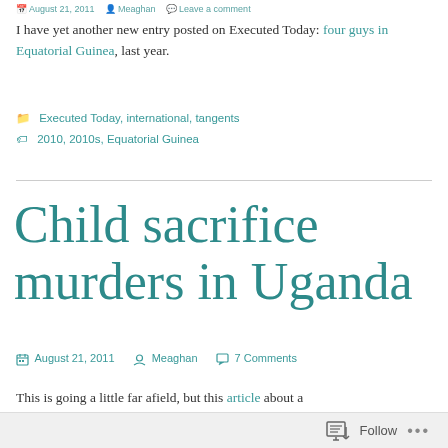August 21, 2011  Meaghan  Leave a comment
I have yet another new entry posted on Executed Today: four guys in Equatorial Guinea, last year.
Executed Today, international, tangents
2010, 2010s, Equatorial Guinea
Child sacrifice murders in Uganda
August 21, 2011  Meaghan  7 Comments
This is going a little far afield, but this article about a